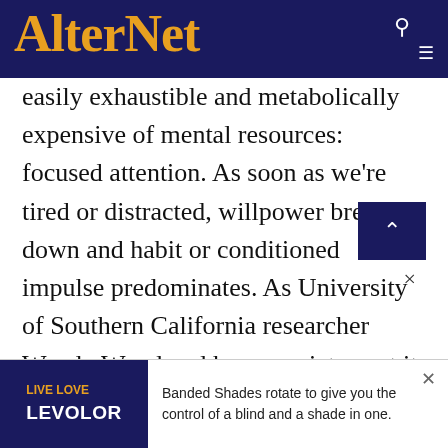AlterNet
easily exhaustible and metabolically expensive of mental resources: focused attention. As soon as we're tired or distracted, willpower breaks down and habit or conditioned impulse predominates. As University of Southern California researcher Wendy Wood and her associates put it, when resources are limited, people are unable to deliberately choose or inhibit responses, and they become locked into repeating habits. Attempts at conscious control
[Figure (other): Advertisement banner: Live Love Levolor - Banded Shades rotate to give you the control of a blind and a shade in one.]